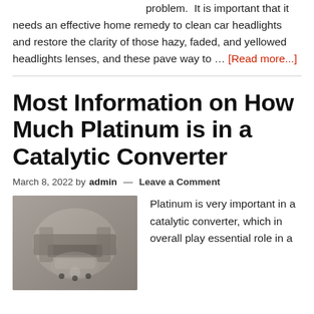problem. It is important that it needs an effective home remedy to clean car headlights and restore the clarity of those hazy, faded, and yellowed headlights lenses, and these pave way to … [Read more...]
Most Information on How Much Platinum is in a Catalytic Converter
March 8, 2022 by admin — Leave a Comment
[Figure (photo): Close-up photo of a hand holding or touching a metallic catalytic converter part]
Platinum is very important in a catalytic converter, which in overall play essential role in a